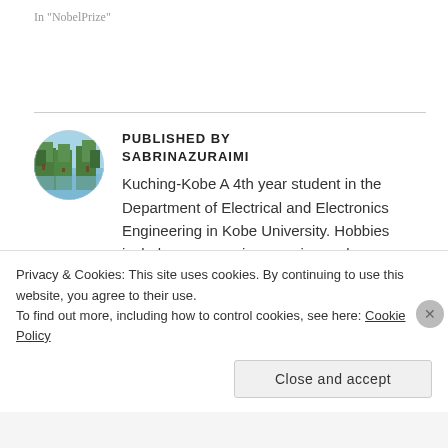In "NobelPrize"
[Figure (photo): Circular avatar photo of a lake or pond with trees reflected in the water, used as author profile picture for sabrinazuraimi]
PUBLISHED BY
SABRINAZURAIMI
Kuching-Kobe A 4th year student in the Department of Electrical and Electronics Engineering in Kobe University. Hobbies include programming, running and
Privacy & Cookies: This site uses cookies. By continuing to use this website, you agree to their use.
To find out more, including how to control cookies, see here: Cookie Policy
Close and accept